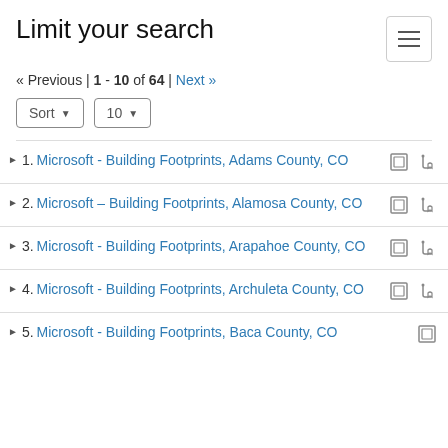Limit your search
« Previous | 1 - 10 of 64 | Next »
1. Microsoft - Building Footprints, Adams County, CO
2. Microsoft – Building Footprints, Alamosa County, CO
3. Microsoft - Building Footprints, Arapahoe County, CO
4. Microsoft - Building Footprints, Archuleta County, CO
5. Microsoft - Building Footprints, Baca County, CO